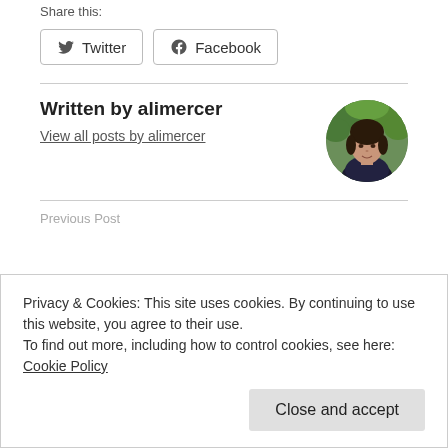Share this:
Twitter   Facebook
Written by alimercer
View all posts by alimercer
[Figure (photo): Circular avatar photo of alimercer, a woman with dark hair, wearing a dark patterned top, with green foliage background.]
Privacy & Cookies: This site uses cookies. By continuing to use this website, you agree to their use.
To find out more, including how to control cookies, see here: Cookie Policy
Close and accept